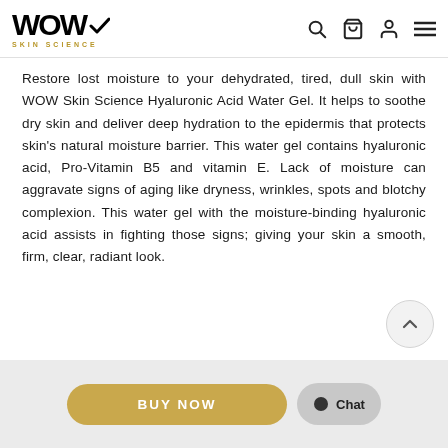WOW SKIN SCIENCE
Restore lost moisture to your dehydrated, tired, dull skin with WOW Skin Science Hyaluronic Acid Water Gel. It helps to soothe dry skin and deliver deep hydration to the epidermis that protects skin's natural moisture barrier. This water gel contains hyaluronic acid, Pro-Vitamin B5 and vitamin E. Lack of moisture can aggravate signs of aging like dryness, wrinkles, spots and blotchy complexion. This water gel with the moisture-binding hyaluronic acid assists in fighting those signs; giving your skin a smooth, firm, clear, radiant look.
[Figure (other): Scroll to top arrow button (chevron up icon inside a circle)]
[Figure (other): BUY NOW button (gold/tan pill-shaped button) and Chat button (gray pill-shaped button with chat bubble icon)]